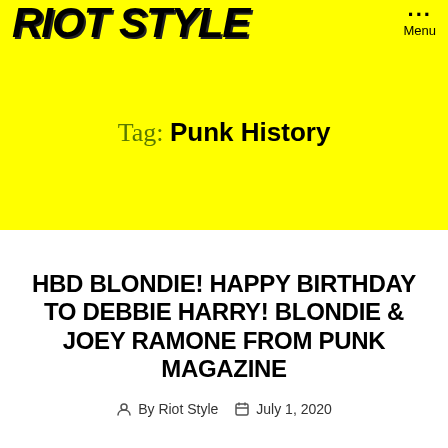RIOT STYLE — Menu
Tag: Punk History
HBD BLONDIE! HAPPY BIRTHDAY TO DEBBIE HARRY! BLONDIE & JOEY RAMONE FROM PUNK MAGAZINE
By Riot Style   July 1, 2020